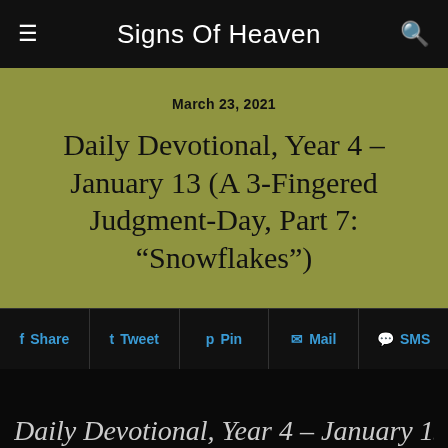Signs Of Heaven
March 23, 2021
Daily Devotional, Year 4 – January 13 (A 3-Fingered Judgment-Day, Part 7: “Snowflakes”)
Share | Tweet | Pin | Mail | SMS
Daily Devotional, Year 4 – January 13